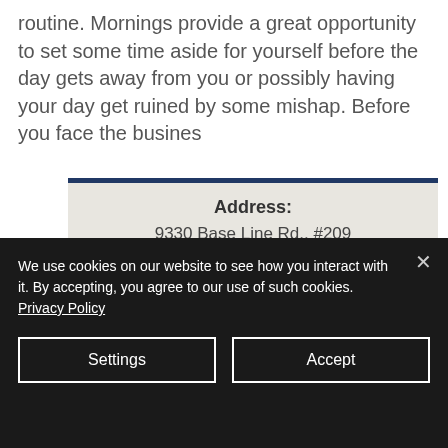routine. Mornings provide a great opportunity to set some time aside for yourself before the day gets away from you or possibly having your day get ruined by some mishap. Before you face the busines
Address:
9330 Base Line Rd., #209
Rancho Cucamonga, CA 91701
Phone: (909) 996-6529
Email: info@smgbusinessservices.com
We use cookies on our website to see how you interact with it. By accepting, you agree to our use of such cookies. Privacy Policy
Settings
Accept